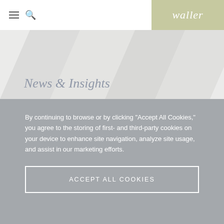waller
News & Insights
By continuing to browse or by clicking "Accept All Cookies," you agree to the storing of first- and third-party cookies on your device to enhance site navigation, analyze site usage, and assist in our marketing efforts.
ACCEPT ALL COOKIES